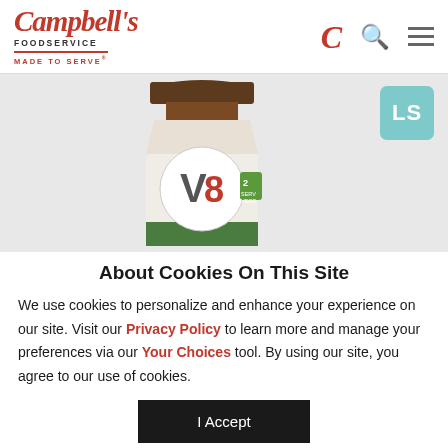Campbell's Foodservice - Made To Serve
[Figure (photo): V8 vegetable juice bottle product photo, partially cropped at bottom of header area, with LS badge in top right corner]
About Cookies On This Site
We use cookies to personalize and enhance your experience on our site. Visit our Privacy Policy to learn more and manage your preferences via our Your Choices tool. By using our site, you agree to our use of cookies.
I Accept
Options